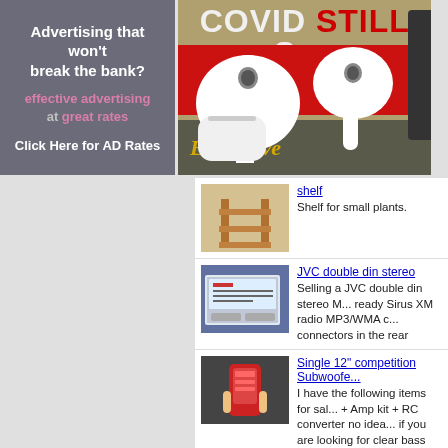[Figure (infographic): Advertising banner with dark gray background. Text reads: 'Advertising that won't break the bank?' followed by 'effective advertising at great rates' and 'Click Here for AD Rates']
[Figure (infographic): Banner ad showing white AirPods earbuds on red/tan background with text 'COVID STILL Su...' at top and 'Enter Eve...' at bottom in gold italic text]
[Figure (photo): Small wooden shelf for plants]
shelf
Shelf for small plants.
[Figure (photo): JVC double din stereo product image]
JVC double din stereo
Selling a JVC double din stereo M... ready Sirus XM radio MP3/WMA c... connectors in the rear
[Figure (photo): Red electronic device held in hand]
Single 12" competition Subwoofer...
I have the following items for sal... + Amp kit + RC converter  no idea... if you are looking for clear bass a...